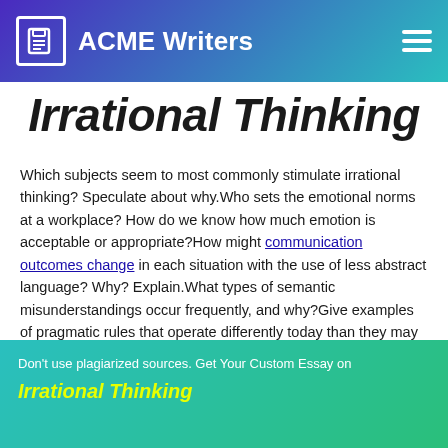ACME Writers
Irrational Thinking
Which subjects seem to most commonly stimulate irrational thinking? Speculate about why.Who sets the emotional norms at a workplace? How do we know how much emotion is acceptable or appropriate?How might communication outcomes change in each situation with the use of less abstract language? Why? Explain.What types of semantic misunderstandings occur frequently, and why?Give examples of pragmatic rules that operate differently today than they may have in the past.For more information on Irrational Thinking check on:https://en.wikipedia.org/wiki/Irrationality
Don't use plagiarized sources. Get Your Custom Essay on
Irrational Thinking